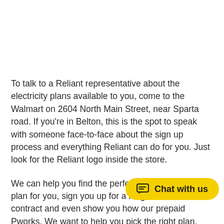To talk to a Reliant representative about the electricity plans available to you, come to the Walmart on 2604 North Main Street, near Sparta road. If you're in Belton, this is the spot to speak with someone face-to-face about the sign up process and everything Reliant can do for you. Just look for the Reliant logo inside the store.
We can help you find the perfect month-to-month plan for you, sign you up for a long- or short-term contract and even show you how our prepaid P... works. We want to help you pick the right plan, manage your account and take advantage of all the perks Reliant
[Figure (other): Chat with us button — yellow pill-shaped button with chat icon and text 'Chat with us']